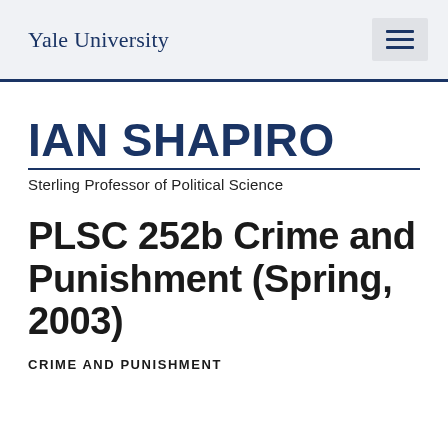Yale University
IAN SHAPIRO
Sterling Professor of Political Science
PLSC 252b Crime and Punishment (Spring, 2003)
CRIME AND PUNISHMENT